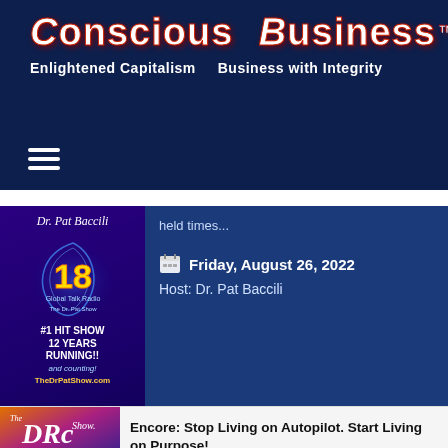[Figure (logo): Conscious Business logo with orb graphic, subtitle: Enlightened Capitalism Business with Integrity]
[Figure (screenshot): Hamburger menu icon (three horizontal lines)]
held times...
Friday, August 26, 2022
Host: Dr. Pat Baccili
[Figure (photo): Dr. Pat Baccili show thumbnail - purple background with 18 years logo, text: #1 HIT SHOW 12 YEARS RUNNING!! and counting! TheDrPatShow.com]
[Figure (infographic): Three blue buttons with icons: download, play, and forward arrow]
Encore: Stop Living on Autopilot. Start Living on Purpose!
[Figure (photo): The DRc Show - Talk Radio to Thrive By! thumbnail with orange/purple/blue gradient]